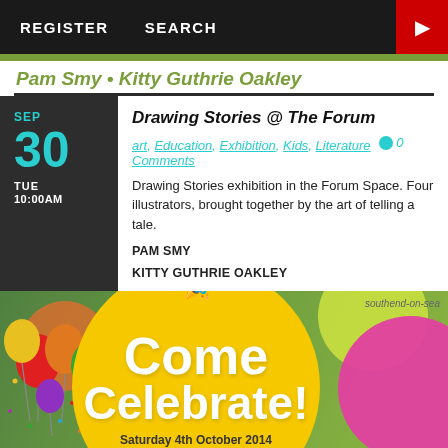REGISTER   SEARCH
Pam Smy • Kitty Guthrie Oakley
SEP 30 TUE 10:00AM
Drawing Stories @ The Forum
art, Education, Exhibition, Kids, Literature  0 Comments
Drawing Stories exhibition in the Forum Space. Four illustrators, brought together by the art of telling a tale.
PAM SMY
KITTY GUTHRIE OAKLEY
[Figure (photo): Celebration banner with balloons, yellow circle with 'Come Celebrate!' text, party hat, southend-on-sea text, pink and lime circles, text: Saturday 4th October 2014, Starts at 10am]